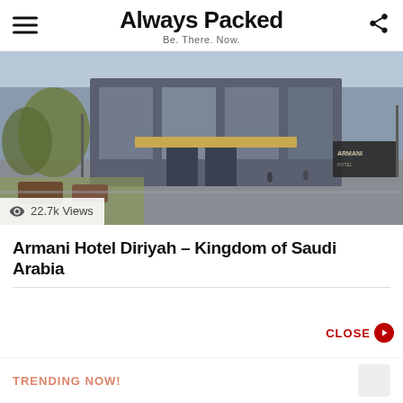Always Packed — Be. There. Now.
[Figure (photo): Exterior photo of Armani Hotel Diriyah, showing a modern upscale hotel building with glass entrance, canopy, and landscaped surroundings]
22.7k Views
Armani Hotel Diriyah – Kingdom of Saudi Arabia
TRENDING NOW!